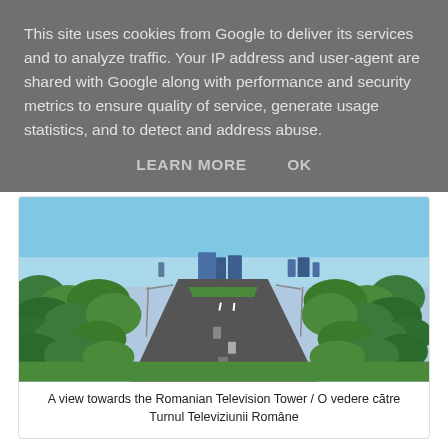This site uses cookies from Google to deliver its services and to analyze traffic. Your IP address and user-agent are shared with Google along with performance and security metrics to ensure quality of service, generate usage statistics, and to detect and address abuse.
LEARN MORE    OK
[Figure (photo): Aerial view of a boulevard lined with trees leading towards the Romanian Television Tower, with city skyline in the background under a clear blue sky.]
A view towards the Romanian Television Tower / O vedere către Turnul Televiziunii Române
[Figure (photo): Partial view of a second photo showing a blue sky, cut off at the bottom of the page.]